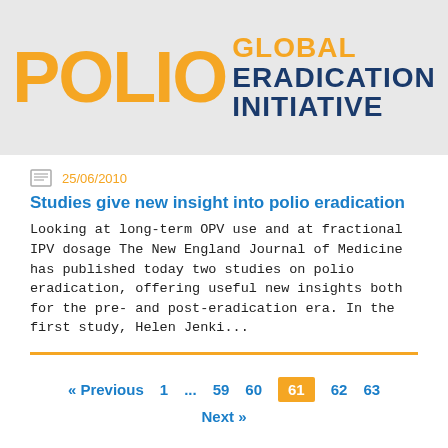[Figure (logo): Global Polio Eradication Initiative logo with orange POLIO text and dark blue GLOBAL ERADICATION INITIATIVE text on grey background]
25/06/2010
Studies give new insight into polio eradication
Looking at long-term OPV use and at fractional IPV dosage The New England Journal of Medicine has published today two studies on polio eradication, offering useful new insights both for the pre- and post-eradication era. In the first study, Helen Jenki...
« Previous  1  ...  59  60  61  62  63  Next »